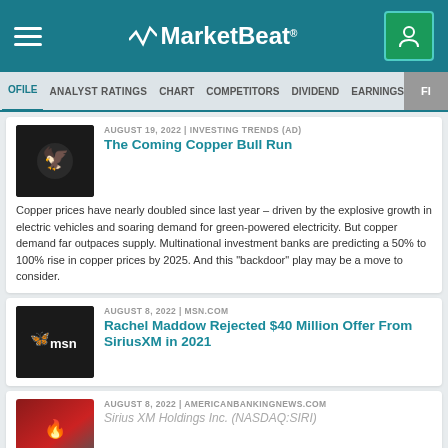MarketBeat
OFILE | ANALYST RATINGS | CHART | COMPETITORS | DIVIDEND | EARNINGS > FI
AUGUST 19, 2022 | INVESTING TRENDS (AD)
The Coming Copper Bull Run
Copper prices have nearly doubled since last year – driven by the explosive growth in electric vehicles and soaring demand for green-powered electricity. But copper demand far outpaces supply. Multinational investment banks are predicting a 50% to 100% rise in copper prices by 2025. And this "backdoor" play may be a move to consider.
AUGUST 8, 2022 | MSN.COM
Rachel Maddow Rejected $40 Million Offer From SiriusXM in 2021
AUGUST 8, 2022 | AMERICANBANKINGNEWS.COM
Sirius XM Holdings Inc. (NASDAQ:SIRI)
SEE MORE HEADLINES